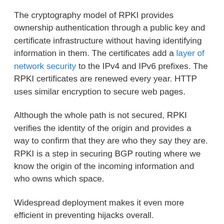The cryptography model of RPKI provides ownership authentication through a public key and certificate infrastructure without having identifying information in them. The certificates add a layer of network security to the IPv4 and IPv6 prefixes. The RPKI certificates are renewed every year. HTTP uses similar encryption to secure web pages.
Although the whole path is not secured, RPKI verifies the identity of the origin and provides a way to confirm that they are who they say they are. RPKI is a step in securing BGP routing where we know the origin of the incoming information and who owns which space.
Widespread deployment makes it even more efficient in preventing hijacks overall.